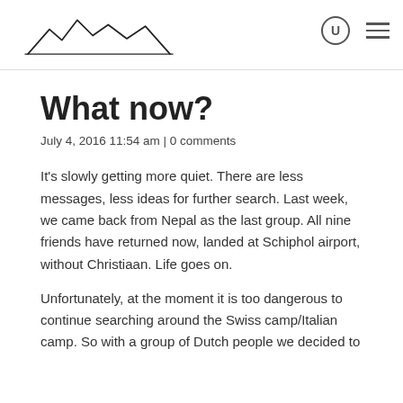[mountain logo] [search icon] [menu icon]
What now?
July 4, 2016 11:54 am | 0 comments
It’s slowly getting more quiet. There are less messages, less ideas for further search. Last week, we came back from Nepal as the last group. All nine friends have returned now, landed at Schiphol airport, without Christiaan. Life goes on.
Unfortunately, at the moment it is too dangerous to continue searching around the Swiss camp/Italian camp. So with a group of Dutch people we decided to